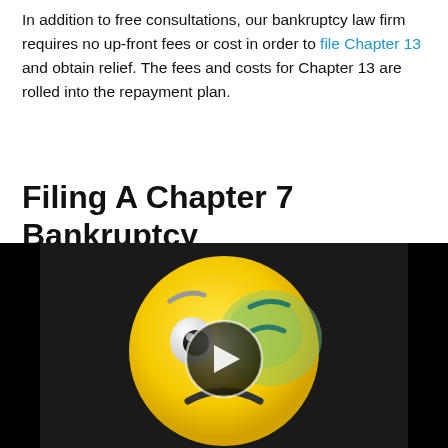In addition to free consultations, our bankruptcy law firm requires no up-front fees or cost in order to file Chapter 13 and obtain relief. The fees and costs for Chapter 13 are rolled into the repayment plan.
Filing A Chapter 7 Bankruptcy
[Figure (screenshot): Video thumbnail showing a yellow sad/confused emoji face with a bruise/green area on the right side, with a circular play button overlay in the center. Black bars on left and right sides of the video frame.]